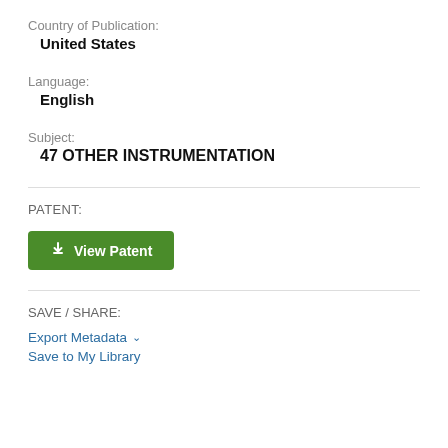Country of Publication:
United States
Language:
English
Subject:
47 OTHER INSTRUMENTATION
PATENT:
View Patent
SAVE / SHARE:
Export Metadata
Save to My Library